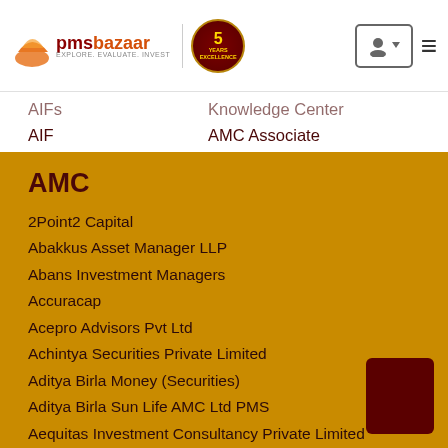[Figure (logo): PMSBazaar logo with 5-year excellence badge]
AIFs
AIF
NRI
Knowledge Center
AMC Associate
Publications
Events
Media
Blog
News
AMC
2Point2 Capital
Abakkus Asset Manager LLP
Abans Investment Managers
Accuracap
Acepro Advisors Pvt Ltd
Achintya Securities Private Limited
Aditya Birla Money (Securities)
Aditya Birla Sun Life AMC Ltd PMS
Aequitas Investment Consultancy Private Limited
Agreya Capital Advisors LLP